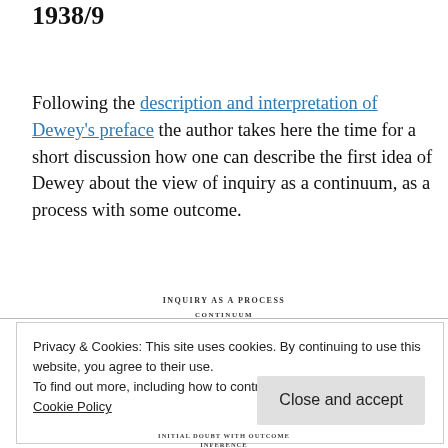1938/9
Following the description and interpretation of Dewey's preface the author takes here the time for a short discussion how one can describe the first idea of Dewey about the view of inquiry as a continuum, as a process with some outcome.
INQUIRY AS A PROCESS
CONTINUUM
Privacy & Cookies: This site uses cookies. By continuing to use this website, you agree to their use.
To find out more, including how to control cookies, see here: Cookie Policy
Close and accept